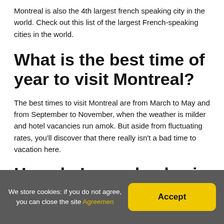Montreal is also the 4th largest french speaking city in the world. Check out this list of the largest French-speaking cities in the world.
What is the best time of year to visit Montreal?
The best times to visit Montreal are from March to May and from September to November, when the weather is milder and hotel vacancies run amok. But aside from fluctuating rates, you'll discover that there really isn't a bad time to vacation here.
How do I spend a day in
We store cookies: if you do not agree, you can close the site Agreemen